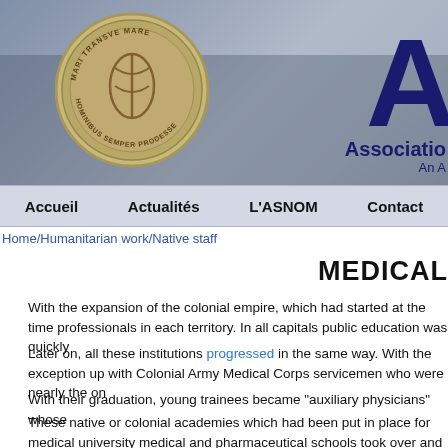[Figure (photo): Website header banner showing a military parade in background with a bronze medal (ASNOM) on the left and large letter 'A' logo with 'Association' and 'An A' text on the right]
Accueil | Actualités | L'ASNOM | Contact
Home/Humanitarian work/Native staff
MEDICAL
With the expansion of the colonial empire, which had started at the time professionals in each territory. In all capitals public education was quickly
Later on, all these institutions progressed in the same way. With the exception up with Colonial Army Medical Corps servicemen who were nearly the on
With their graduation, young trainees became "auxiliary physicians" whose
These native or colonial academies which had been put in place for medical university medical and pharmaceutical schools took over and then the sk right track.